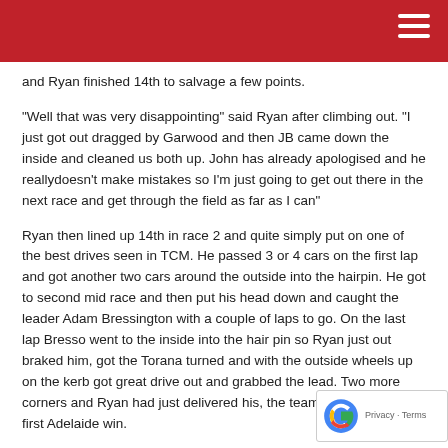and Ryan finished 14th to salvage a few points.
"Well that was very disappointing" said Ryan after climbing out. "I just got out dragged by Garwood and then JB came down the inside and cleaned us both up. John has already apologised and he reallydoesn't make mistakes so I'm just going to get out there in the next race and get through the field as far as I can"
Ryan then lined up 14th in race 2 and quite simply put on one of the best drives seen in TCM. He passed 3 or 4 cars on the first lap and got another two cars around the outside into the hairpin. He got to second mid race and then put his head down and caught the leader Adam Bressington with a couple of laps to go. On the last lap Bresso went to the inside into the hair pin so Ryan just out braked him, got the Torana turned and with the outside wheels up on the kerb got great drive out and grabbed the lead. Two more corners and Ryan had just delivered his, the teams and Multispares first Adelaide win.
Race 3 was mid-morning on Sunday with a good crowd in attenda...